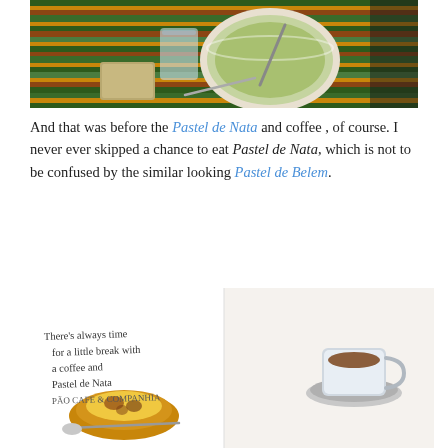[Figure (photo): Overhead photo of a bowl of soup with a spoon, a glass of water, and some items on a colorful striped green/orange placemat]
And that was before the Pastel de Nata and coffee , of course. I never ever skipped a chance to eat Pastel de Nata, which is not to be confused by the similar looking Pastel de Belem.
[Figure (illustration): An illustration/sketch of a coffee cup and Pastel de Nata pastry with handwritten text reading: There's always time for a little break with a coffee and Pastel de Nata PÃO CAFE & COMPANHIA]